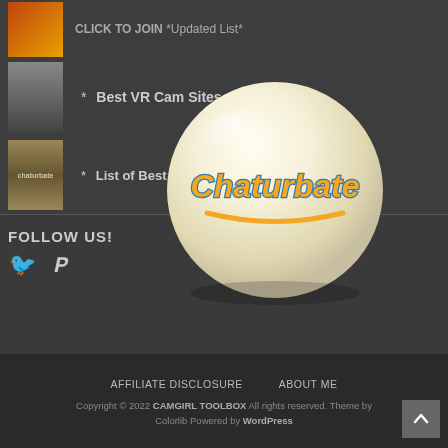CLICK TO JOIN * Updated List*
* Best VR Cam Sites
* List of Best Cam Sites to Join in 2022
[Figure (logo): Chaturbate logo on a shiny white/cream billiard ball]
FOLLOW US!
[Figure (other): Twitter and Pinterest social media icons]
AFFILIATE DISCLOSURE   ABOUT ME   Copyright © 2022 CAMGIRL TOOLBOX All rights reserved. Theme by Colorlib Powered by WordPress